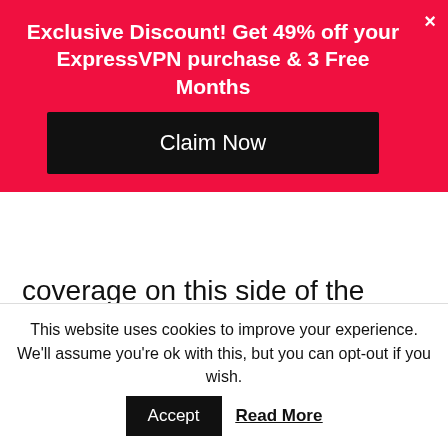[Figure (screenshot): Red promotional banner for ExpressVPN with '×' close button, headline 'Exclusive Discount! Get 49% off your ExpressVPN purchase & 3 Free Months', and a black 'Claim Now' button]
coverage on this side of the Atlantic, then you should look at getting a cycling pass, where you get not only live but commercial-free coverage of the entire tour, plus other bits of cycling action.
For us Tour de France fans that also happen to be cable cutters, you can get to watch tour de France live online via FuboTV. With FuboTV, you simply
This website uses cookies to improve your experience. We'll assume you're ok with this, but you can opt-out if you wish.